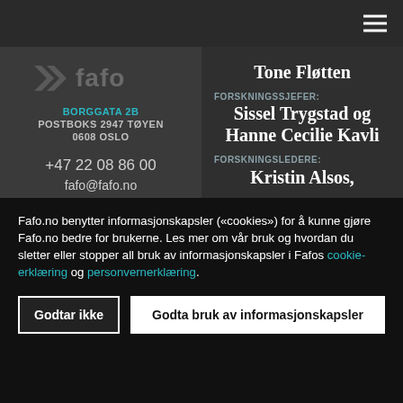[Figure (logo): Hamburger menu icon (three white horizontal lines) in top-right corner on dark bar]
[Figure (logo): Fafo logo - partial chevron/arrow logo with 'fafo' text, in gray on dark background]
BORGGATA 2B
POSTBOKS 2947 TØYEN
0608 OSLO
+47 22 08 86 00
fafo@fafo.no
Jobbe på Fafo?
Tone Fløtten
FORSKNINGSSJEFER:
Sissel Trygstad og Hanne Cecilie Kavli
FORSKNINGSLEDERE:
Kristin Alsos,
Fafo.no benytter informasjonskapsler («cookies») for å kunne gjøre Fafo.no bedre for brukerne. Les mer om vår bruk og hvordan du sletter eller stopper all bruk av informasjonskapsler i Fafos cookie-erklæring og personvernerklæring.
Godtar ikke
Godta bruk av informasjonskapsler